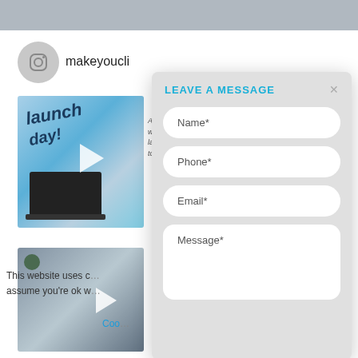[Figure (screenshot): Website screenshot showing Instagram profile section (makeyoucl...), two video thumbnail image boxes with play buttons, and sidebar contact icons.]
This website uses c... ve'll assume you're ok w... sh.
Coo...
[Figure (screenshot): Modal dialog overlay titled 'LEAVE A MESSAGE' with form fields: Name*, Phone*, Email*, Message* and a close (x) button.]